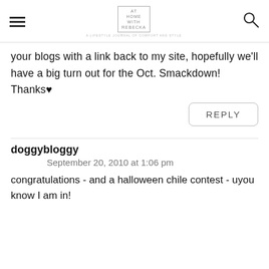At Home With Rebecka — a lifestyle journal of comfort and style
your blogs with a link back to my site, hopefully we'll have a big turn out for the Oct. Smackdown! Thanks♥
REPLY
doggybloggy
September 20, 2010 at 1:06 pm
congratulations - and a halloween chile contest - uyou know I am in!